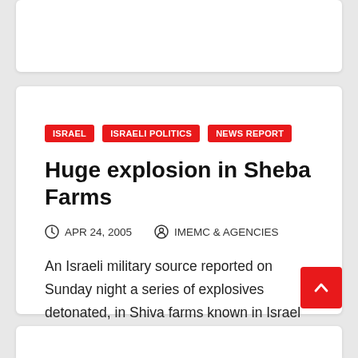ISRAEL
ISRAELI POLITICS
NEWS REPORT
Huge explosion in Sheba Farms
APR 24, 2005   IMEMC & AGENCIES
An Israeli military source reported on Sunday night a series of explosives detonated, in Shiva farms known in Israel as Ã¢â,¬Å"Mount Dov areaÃ¢â,¬Â, on the Lebanese borders. The source stated…